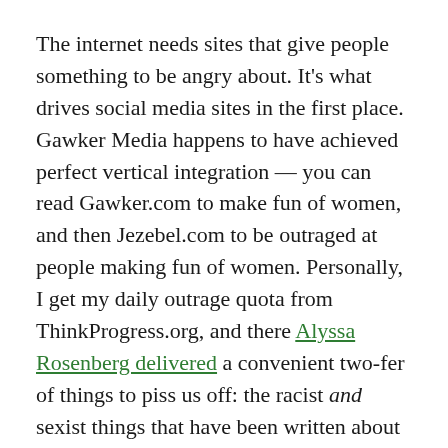The internet needs sites that give people something to be angry about. It's what drives social media sites in the first place. Gawker Media happens to have achieved perfect vertical integration — you can read Gawker.com to make fun of women, and then Jezebel.com to be outraged at people making fun of women. Personally, I get my daily outrage quota from ThinkProgress.org, and there Alyssa Rosenberg delivered a convenient two-fer of things to piss us off: the racist and sexist things that have been written about the movie.
(The misogynistic comments in reviews are legitimately awful, since a) they've written by